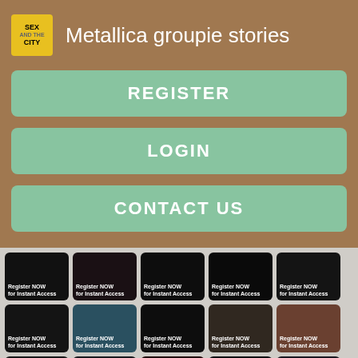[Figure (logo): Sex and the City logo icon, yellow/gold background with text]
Metallica groupie stories
REGISTER
LOGIN
CONTACT US
[Figure (screenshot): Grid of thumbnail images each labeled 'Register NOW for Instant Access']